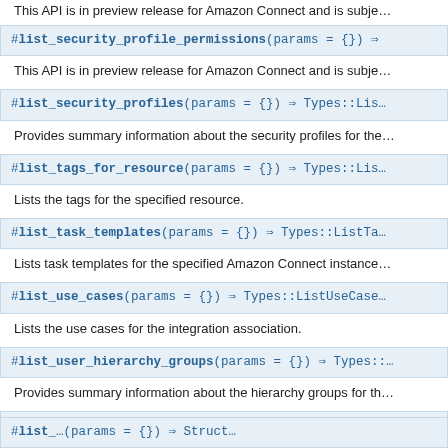This API is in preview release for Amazon Connect and is subject to change.
#list_security_permissions(params = {}) => Types::...
This API is in preview release for Amazon Connect and is subject to change.
#list_security_profiles(params = {}) => Types::Lis...
Provides summary information about the security profiles for the...
#list_tags_for_resource(params = {}) => Types::Lis...
Lists the tags for the specified resource.
#list_task_templates(params = {}) => Types::ListTa...
Lists task templates for the specified Amazon Connect instance.
#list_use_cases(params = {}) => Types::ListUseCase...
Lists the use cases for the integration association.
#list_user_hierarchy_groups(params = {}) => Types::...
Provides summary information about the hierarchy groups for th...
#list_users(params = {}) => Types::ListUsersRespon...
Provides summary information about the users for the specified...
#... (params = {}) => Struct...